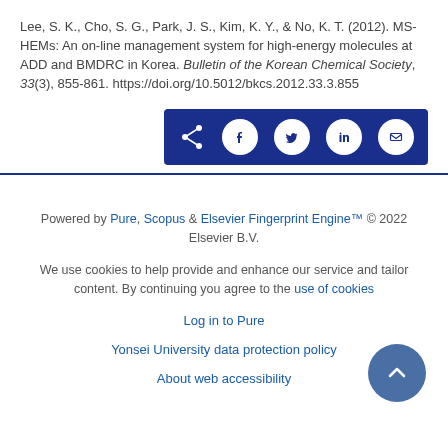Lee, S. K., Cho, S. G., Park, J. S., Kim, K. Y., & No, K. T. (2012). MS-HEMs: An on-line management system for high-energy molecules at ADD and BMDRC in Korea. Bulletin of the Korean Chemical Society, 33(3), 855-861. https://doi.org/10.5012/bkcs.2012.33.3.855
[Figure (other): Social share bar with icons for share, Facebook, Twitter, LinkedIn, and email on a dark blue background]
Powered by Pure, Scopus & Elsevier Fingerprint Engine™ © 2022 Elsevier B.V.
We use cookies to help provide and enhance our service and tailor content. By continuing you agree to the use of cookies
Log in to Pure
Yonsei University data protection policy
About web accessibility